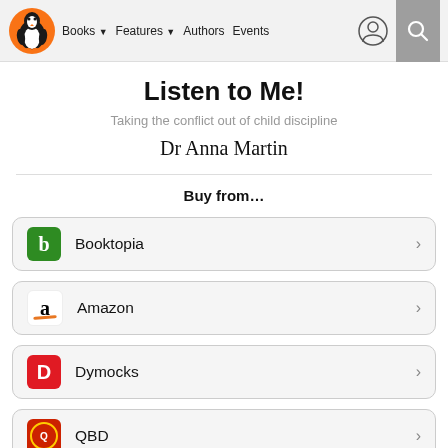Books ▾   Features ▾   Authors   Events
Listen to Me!
Taking the conflict out of child discipline
Dr Anna Martin
Buy from…
Booktopia
Amazon
Dymocks
QBD